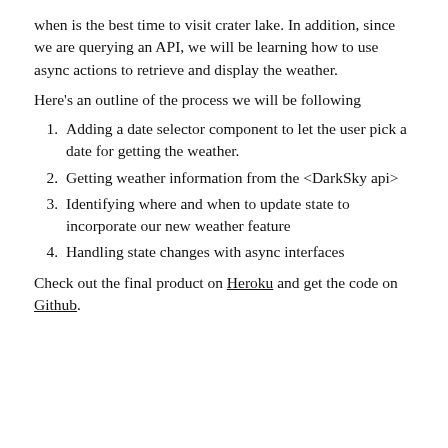when is the best time to visit crater lake. In addition, since we are querying an API, we will be learning how to use async actions to retrieve and display the weather.
Here's an outline of the process we will be following
Adding a date selector component to let the user pick a date for getting the weather.
Getting weather information from the <DarkSky api>
Identifying where and when to update state to incorporate our new weather feature
Handling state changes with async interfaces
Check out the final product on Heroku and get the code on Github.